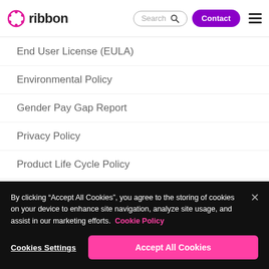[Figure (logo): Ribbon logo — circular pink/magenta icon with text 'ribbon' in dark gray]
End User License (EULA)
Environmental Policy
Gender Pay Gap Report
Privacy Policy
Product Life Cycle Policy
Purchase & License Terms
Quality Policy
Real Estate Privacy Noti…
By clicking “Accept All Cookies”, you agree to the storing of cookies on your device to enhance site navigation, analyze site usage, and assist in our marketing efforts. Cookie Policy
Cookies Settings
Accept All Cookies